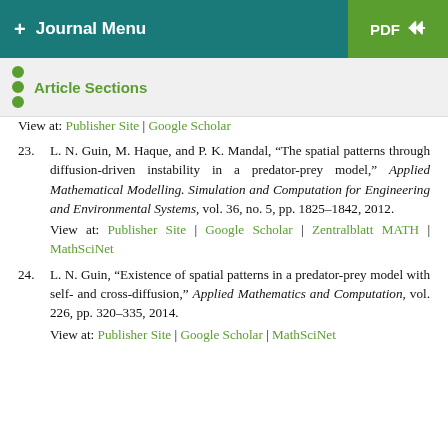+ Journal Menu   PDF ↓
Article Sections
View at: Publisher Site | Google Scholar
23. L. N. Guin, M. Haque, and P. K. Mandal, "The spatial patterns through diffusion-driven instability in a predator-prey model," Applied Mathematical Modelling. Simulation and Computation for Engineering and Environmental Systems, vol. 36, no. 5, pp. 1825–1842, 2012.
View at: Publisher Site | Google Scholar | Zentralblatt MATH | MathSciNet
24. L. N. Guin, "Existence of spatial patterns in a predator-prey model with self- and cross-diffusion," Applied Mathematics and Computation, vol. 226, pp. 320–335, 2014.
View at: Publisher Site | Google Scholar | MathSciNet